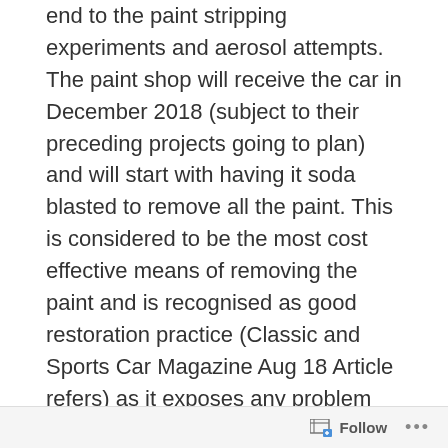end to the paint stripping experiments and aerosol attempts. The paint shop will receive the car in December 2018 (subject to their preceding projects going to plan) and will start with having it soda blasted to remove all the paint. This is considered to be the most cost effective means of removing the paint and is recognised as good restoration practice (Classic and Sports Car Magazine Aug 18 Article refers) as it exposes any problem areas. The only proviso in this case is that the underside of my MGB has been undersealed and is recognised as being solid so I will suggest this area is left intact. The soda blasting does require that the dashboard is removed or at least undone so that is a fiddly job to do (not attempted yet) and the wiring loom will need robust protection
Follow ...